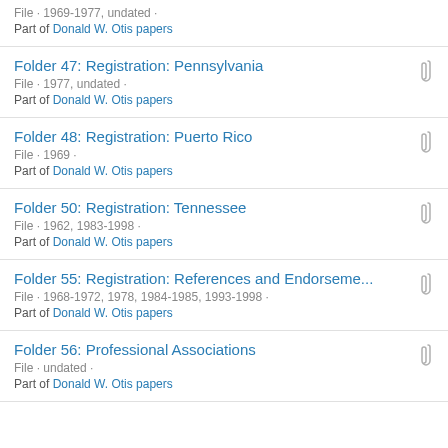File · 1969-1977, undated · Part of Donald W. Otis papers
Folder 47: Registration: Pennsylvania
File · 1977, undated · Part of Donald W. Otis papers
Folder 48: Registration: Puerto Rico
File · 1969 · Part of Donald W. Otis papers
Folder 50: Registration: Tennessee
File · 1962, 1983-1998 · Part of Donald W. Otis papers
Folder 55: Registration: References and Endorseme...
File · 1968-1972, 1978, 1984-1985, 1993-1998 · Part of Donald W. Otis papers
Folder 56: Professional Associations
File · undated · Part of Donald W. Otis papers